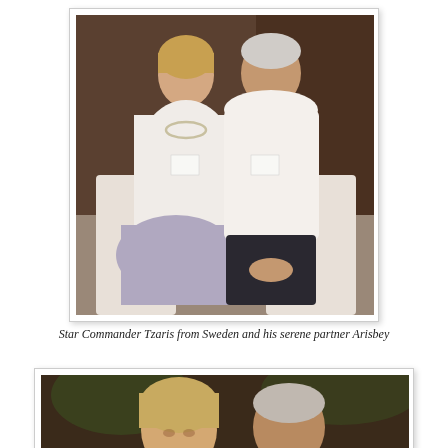[Figure (photo): Two people sitting side by side on white chairs. A woman with blonde hair pulled up, wearing a white top and patterned skirt with a necklace, and a man with short grey hair wearing a white t-shirt and dark shorts. Both wear name badges.]
Star Commander Tzaris from Sweden and his serene partner Arisbey
[Figure (photo): Partial photo showing two people from the shoulders up, a woman with blonde hair and a man, in a darker indoor setting.]